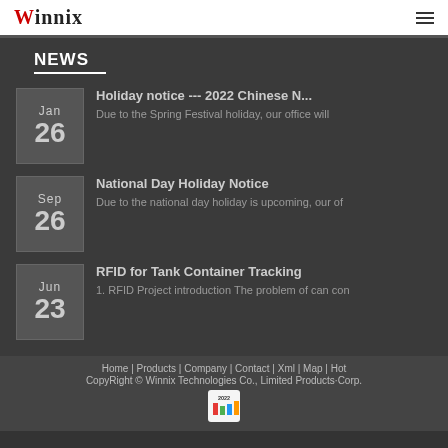Winnix
NEWS
Jan 26 — Holiday notice --- 2022 Chinese N... Due to the Spring Festival holiday, our office will
Sep 26 — National Day Holiday Notice. Due to the national day holiday is upcoming, our of
Jun 23 — RFID for Tank Container Tracking. 1. RFID Project introduction The problem of can con
Home | Products | Company | Contact | Xml | Map | Hot
CopyRight © Winnix Technologies Co., Limited Products·Corp.